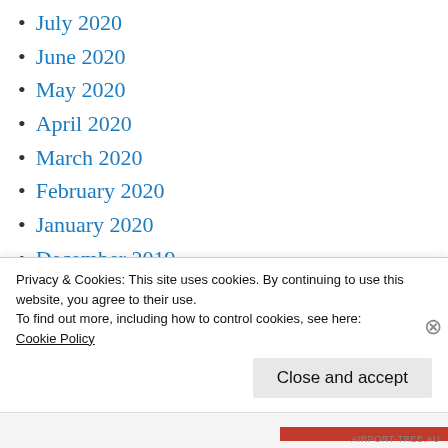July 2020
June 2020
May 2020
April 2020
March 2020
February 2020
January 2020
December 2019
November 2019
October 2019
September 2019
Privacy & Cookies: This site uses cookies. By continuing to use this website, you agree to their use.
To find out more, including how to control cookies, see here:
Cookie Policy
Close and accept